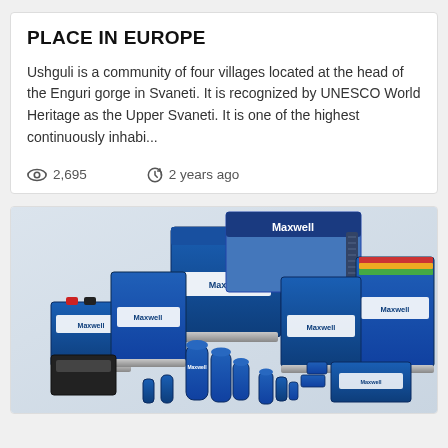PLACE IN EUROPE
Ushguli is a community of four villages located at the head of the Enguri gorge in Svaneti. It is recognized by UNESCO World Heritage as the Upper Svaneti. It is one of the highest continuously inhabi...
2,695   2 years ago
[Figure (photo): Photo of multiple Maxwell Technologies branded blue battery/capacitor products of various sizes arranged together on a white background]